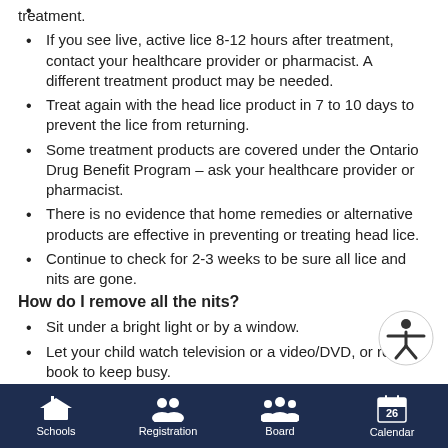treatment.
If you see live, active lice 8-12 hours after treatment, contact your healthcare provider or pharmacist. A different treatment product may be needed.
Treat again with the head lice product in 7 to 10 days to prevent the lice from returning.
Some treatment products are covered under the Ontario Drug Benefit Program – ask your healthcare provider or pharmacist.
There is no evidence that home remedies or alternative products are effective in preventing or treating head lice.
Continue to check for 2-3 weeks to be sure all lice and nits are gone.
How do I remove all the nits?
Sit under a bright light or by a window.
Let your child watch television or a video/DVD, or read a book to keep busy.
Nits are usually attached to the hair just after...
Schools  Registration  Board  Calendar